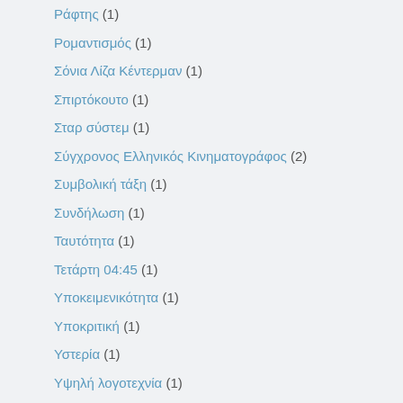Ράφτης (1)
Ρομαντισμός (1)
Σόνια Λίζα Κέντερμαν (1)
Σπιρτόκουτο (1)
Σταρ σύστεμ (1)
Σύγχρονος Ελληνικός Κινηματογράφος (2)
Συμβολική τάξη (1)
Συνδήλωση (1)
Ταυτότητα (1)
Τετάρτη 04:45 (1)
Υποκειμενικότητα (1)
Υποκριτική (1)
Υστερία (1)
Υψηλή λογοτεχνία (1)